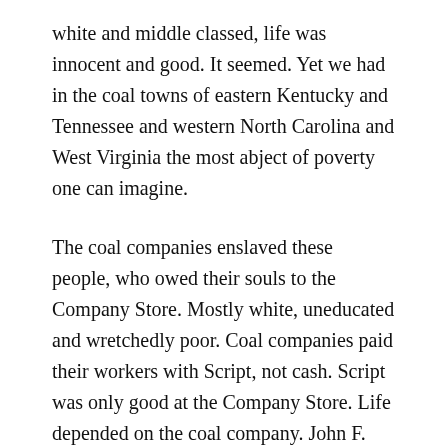white and middle classed, life was innocent and good. It seemed. Yet we had in the coal towns of eastern Kentucky and Tennessee and western North Carolina and West Virginia the most abject of poverty one can imagine.
The coal companies enslaved these people, who owed their souls to the Company Store. Mostly white, uneducated and wretchedly poor. Coal companies paid their workers with Script, not cash. Script was only good at the Company Store. Life depended on the coal company. John F. Kennedy fought to break those chains of slavery. He fought to bring the Appalachian poor into the 20th Century. Part of his presidential campaign was fought on that impoverished ground. When Kennedy died, he had broken the company chains but left the people adrift and Lyndon B. Johns...